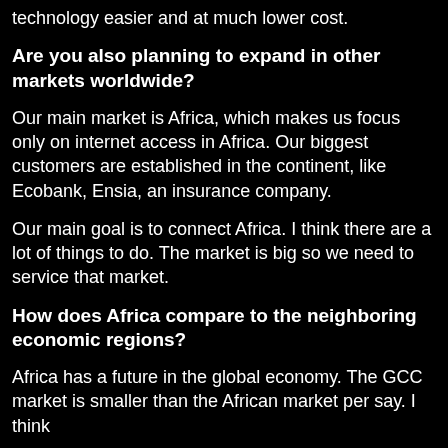technology easier and at much lower cost.
Are you also planning to expand in other markets worldwide?
Our main market is Africa, which makes us focus only on internet access in Africa. Our biggest customers are established in the continent, like Ecobank, Ensia, an insurance company.
Our main goal is to connect Africa. I think there are a lot of things to do. The market is big so we need to service that market.
How does Africa compare to the neighboring economic regions?
Africa has a future in the global economy. The GCC market is smaller than the African market per say. I think